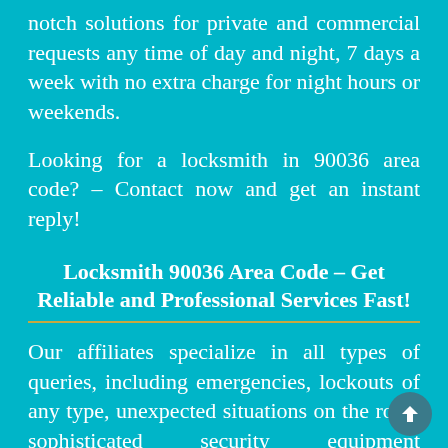notch solutions for private and commercial requests any time of day and night, 7 days a week with no extra charge for night hours or weekends.
Looking for a locksmith in 90036 area code? – Contact now and get an instant reply!
Locksmith 90036 Area Code – Get Reliable and Professional Services Fast!
Our affiliates specialize in all types of queries, including emergencies, lockouts of any type, unexpected situations on the road, sophisticated security equipment installation.
Locksmith 90036 – fast & quality assistance!